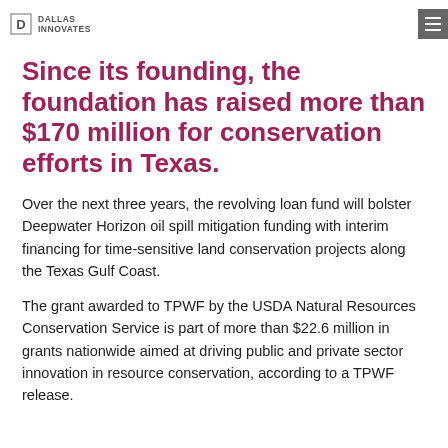DALLAS INNOVATES
Since its founding, the foundation has raised more than $170 million for conservation efforts in Texas.
Over the next three years, the revolving loan fund will bolster Deepwater Horizon oil spill mitigation funding with interim financing for time-sensitive land conservation projects along the Texas Gulf Coast.
The grant awarded to TPWF by the USDA Natural Resources Conservation Service is part of more than $22.6 million in grants nationwide aimed at driving public and private sector innovation in resource conservation, according to a TPWF release.